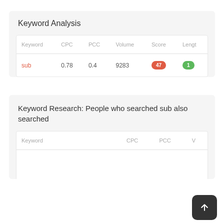Keyword Analysis
| Keyword | CPC | PCC | Volume | Score | Lengt |
| --- | --- | --- | --- | --- | --- |
| sub | 0.78 | 0.4 | 9283 | 47 | 1 |
Keyword Research: People who searched sub also searched
| Keyword | CPC | PCC | V |
| --- | --- | --- | --- |